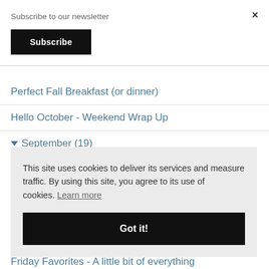Subscribe to our newsletter
Subscribe
×
Perfect Fall Breakfast (or dinner)
Hello October - Weekend Wrap Up
▼ September (19)
This site uses cookies to deliver its services and measure traffic. By using this site, you agree to its use of cookies. Learn more
Got it!
Friday Favorites - A little bit of everything